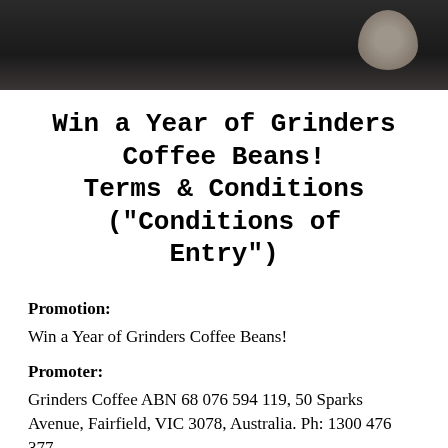[Figure (photo): Dark background banner photo showing coffee-related scene with blurred dark tones and a light circular object on the right]
Win a Year of Grinders Coffee Beans! Terms & Conditions ("Conditions of Entry")
Promotion:
Win a Year of Grinders Coffee Beans!
Promoter:
Grinders Coffee ABN 68 076 594 119, 50 Sparks Avenue, Fairfield, VIC 3078, Australia. Ph: 1300 476 377